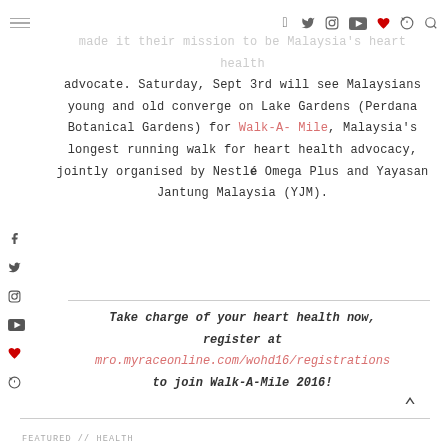Social media navigation bar with hamburger menu and icons: Facebook, Twitter, Instagram, YouTube, Heart, Pinterest, Search
made it their mission to be Malaysia's heart health advocate. Saturday, Sept 3rd will see Malaysians young and old converge on Lake Gardens (Perdana Botanical Gardens) for Walk-A-Mile, Malaysia's longest running walk for heart health advocacy, jointly organised by Nestlé Omega Plus and Yayasan Jantung Malaysia (YJM).
Take charge of your heart health now, register at mro.myraceonline.com/wohd16/registrations to join Walk-A-Mile 2016!
FEATURED // HEALTH